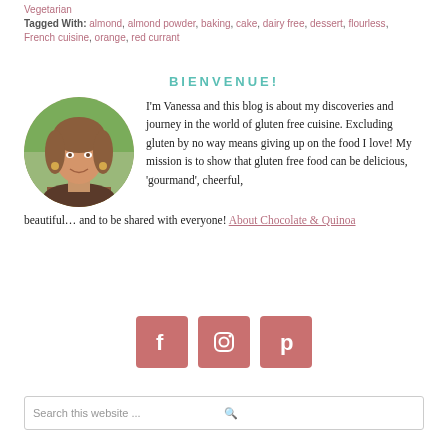Vegetarian
Tagged With: almond, almond powder, baking, cake, dairy free, dessert, flourless, French cuisine, orange, red currant
BIENVENUE!
[Figure (photo): Circular portrait photo of Vanessa, a woman with brown hair and drop earrings, smiling, with green outdoor background]
I'm Vanessa and this blog is about my discoveries and journey in the world of gluten free cuisine. Excluding gluten by no way means giving up on the food I love! My mission is to show that gluten free food can be delicious, 'gourmand', cheerful, beautiful… and to be shared with everyone! About Chocolate & Quinoa
[Figure (infographic): Three social media icon buttons (Facebook, Instagram, Pinterest) in muted red/rose square buttons]
Search this website ...